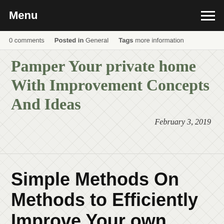Menu
0 comments   Posted in General   Tags more information
Pamper Your private home With Improvement Concepts And Ideas
February 3, 2019
Simple Methods On Methods to Efficiently Improve Your own home